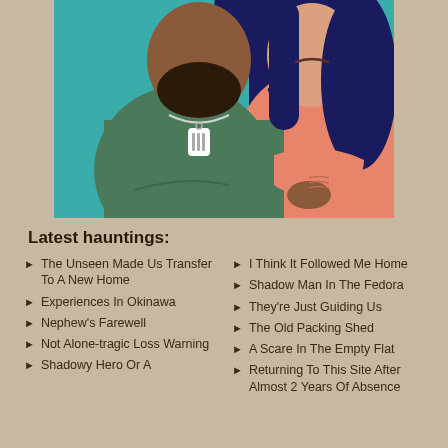[Figure (illustration): Flat illustration of a bearded man in green shirt with military dog tags and a woman in salmon/pink top leaning against him, on a teal background]
Latest hauntings:
The Unseen Made Us Transfer To A New Home
Experiences In Okinawa
Nephew's Farewell
Not Alone-tragic Loss Warning
Shadowy Hero Or A
I Think It Followed Me Home
Shadow Man In The Fedora
They're Just Guiding Us
The Old Packing Shed
A Scare In The Empty Flat
Returning To This Site After Almost 2 Years Of Absence